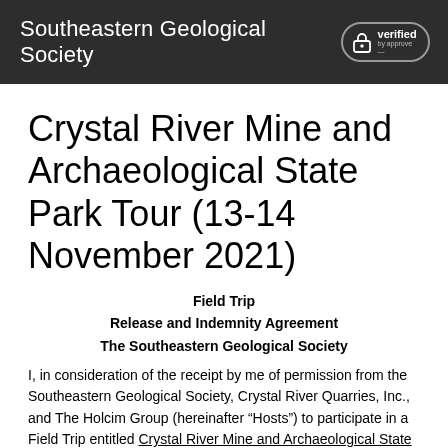Southeastern Geological Society
Crystal River Mine and Archaeological State Park Tour (13-14 November 2021)
Field Trip
Release and Indemnity Agreement
The Southeastern Geological Society
I, in consideration of the receipt by me of permission from the Southeastern Geological Society, Crystal River Quarries, Inc., and The Holcim Group (hereinafter “Hosts”) to participate in a Field Trip entitled Crystal River Mine and Archaeological State Park Tour to be conducted on November 13-14, 2021, and sponsored by Hosts